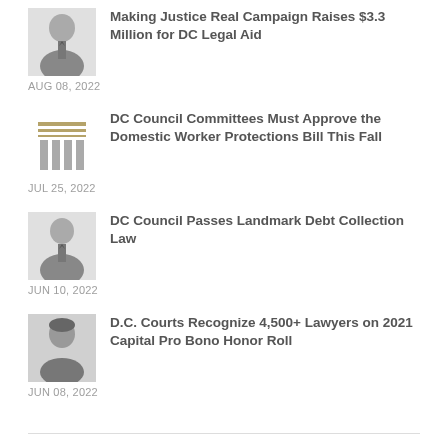[Figure (photo): Black and white photo of a man in suit and glasses]
Making Justice Real Campaign Raises $3.3 Million for DC Legal Aid
AUG 08, 2022
[Figure (illustration): Stylized icon of courthouse columns with horizontal lines above]
DC Council Committees Must Approve the Domestic Worker Protections Bill This Fall
JUL 25, 2022
[Figure (photo): Black and white photo of a man in suit]
DC Council Passes Landmark Debt Collection Law
JUN 10, 2022
[Figure (photo): Black and white photo of a woman]
D.C. Courts Recognize 4,500+ Lawyers on 2021 Capital Pro Bono Honor Roll
JUN 08, 2022